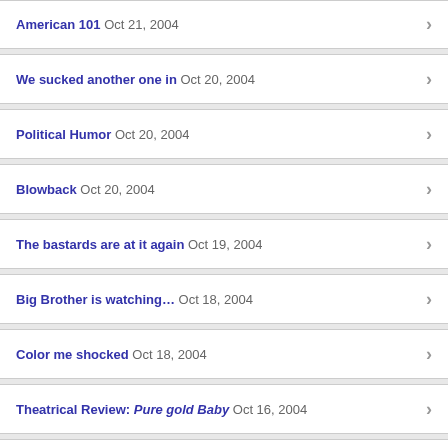American 101 Oct 21, 2004
We sucked another one in Oct 20, 2004
Political Humor Oct 20, 2004
Blowback Oct 20, 2004
The bastards are at it again Oct 19, 2004
Big Brother is watching… Oct 18, 2004
Color me shocked Oct 18, 2004
Theatrical Review: Pure gold Baby Oct 16, 2004
Strangers and fiction Oct 12, 2004